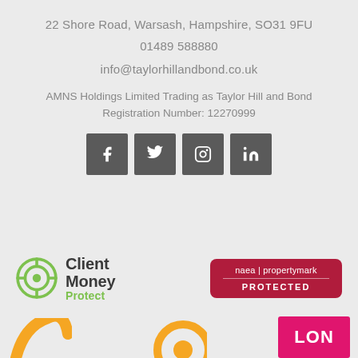22 Shore Road, Warsash, Hampshire, SO31 9FU
01489 588880
info@taylorhillandbond.co.uk
AMNS Holdings Limited Trading as Taylor Hill and Bond
Registration Number: 12270999
[Figure (infographic): Four social media icon buttons (Facebook, Twitter, Instagram, LinkedIn) in dark grey square boxes]
[Figure (logo): ClientMoney Protect logo with circular icon and green 'Protect' text]
[Figure (logo): NAEA Propertymark Protected badge in dark red/crimson with white text]
[Figure (logo): Partial logos at bottom of page including a pink/magenta LON badge]